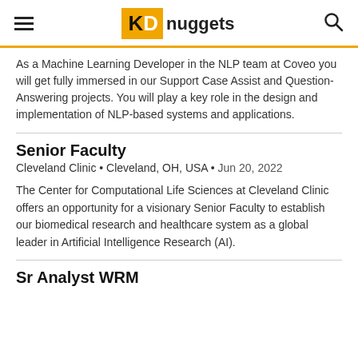KDnuggets
As a Machine Learning Developer in the NLP team at Coveo you will get fully immersed in our Support Case Assist and Question-Answering projects. You will play a key role in the design and implementation of NLP-based systems and applications.
Senior Faculty
Cleveland Clinic • Cleveland, OH, USA • Jun 20, 2022
The Center for Computational Life Sciences at Cleveland Clinic offers an opportunity for a visionary Senior Faculty to establish our biomedical research and healthcare system as a global leader in Artificial Intelligence Research (AI).
Sr Analyst WRM